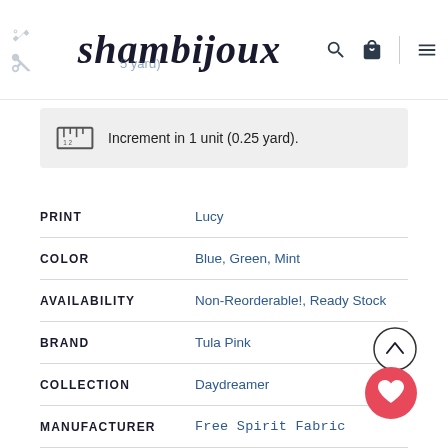shambijoux
Increment in 1 unit (0.25 yard).
| Attribute | Value |
| --- | --- |
| PRINT | Lucy |
| COLOR | Blue, Green, Mint |
| AVAILABILITY | Non-Reorderable!, Ready Stock |
| BRAND | Tula Pink |
| COLLECTION | Daydreamer |
| MANUFACTURER | Free Spirit Fabric |